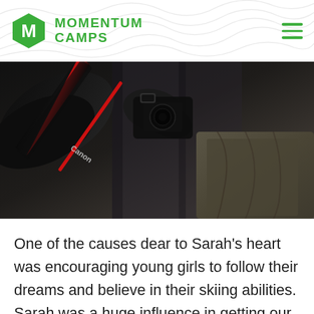MOMENTUM CAMPS
[Figure (photo): Close-up photo of a person holding a Canon camera with a black camera strap with red trim visible, wearing dark clothing. Another person in olive/khaki pants is partially visible.]
One of the causes dear to Sarah's heart was encouraging young girls to follow their dreams and believe in their skiing abilities. Sarah was a huge influence in getting our 'Girls Week' off the ground and inspired so many young women through her incredible skiing talent, but more